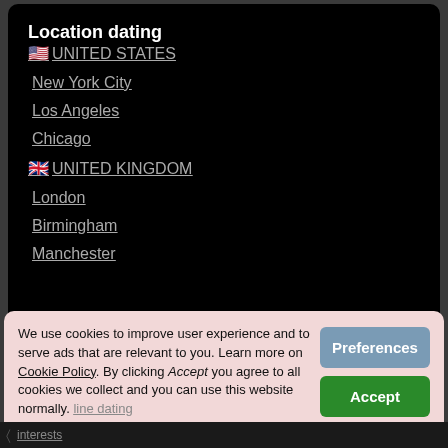Location dating
🇺🇸 UNITED STATES
New York City
Los Angeles
Chicago
🇬🇧 UNITED KINGDOM
London
Birmingham
Manchester
We use cookies to improve user experience and to serve ads that are relevant to you. Learn more on Cookie Policy. By clicking Accept you agree to all cookies we collect and you can use this website normally. Click Preferences to change cookie settings.
Preferences
Accept